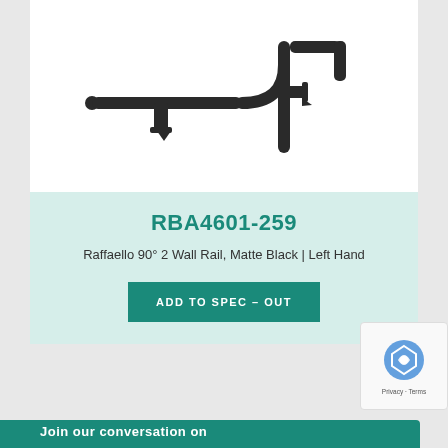[Figure (photo): Raffaello 90 degree 2 wall rail in matte black, left hand, showing L-shaped grab rail with wall mounting brackets]
RBA4601-259
Raffaello 90° 2 Wall Rail, Matte Black | Left Hand
ADD TO SPEC – OUT
Join our conversation on